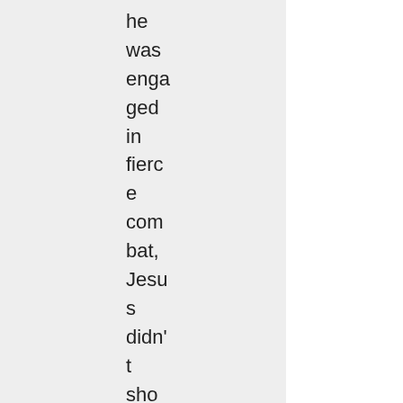he was engaged in fierce combat, Jesus didn't show it in a way the worl